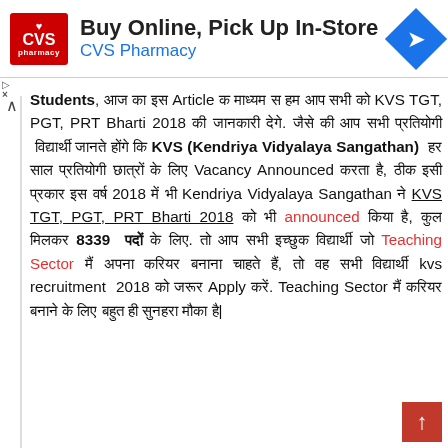[Figure (other): CVS Pharmacy advertisement banner with logo, text 'Buy Online, Pick Up In-Store CVS Pharmacy', and blue arrow icon]
Students, आज का इस Article क माध्यम स हम आप सभी को KVS TGT, PGT, PRT Bharti 2018 की जानकारी देगे. जैसे की आप सभी प्रतियोगी विद्यार्थी जानते होंगे कि KVS (Kendriya Vidyalaya Sangathan) हर साल प्रतियोगी छात्रों के लिए Vacancy Announced करता है, ठीक इसी प्रकार इस वर्ष 2018 में भी Kendriya Vidyalaya Sangathan ने KVS TGT, PGT, PRT Bharti 2018 को भी announced किया है, कुल मिलकर 8339 पदों के लिए. तो आप सभी इच्छुक विद्यार्थी जो Teaching Sector मैं अपना करियर बनाना चाहते हैं, तो वह सभी विद्यार्थी kvs recruitment 2018 को जरूर Apply करें. Teaching Sector मैं करियर बनाने के लिए बहुत ही सुनहरा मौका है|